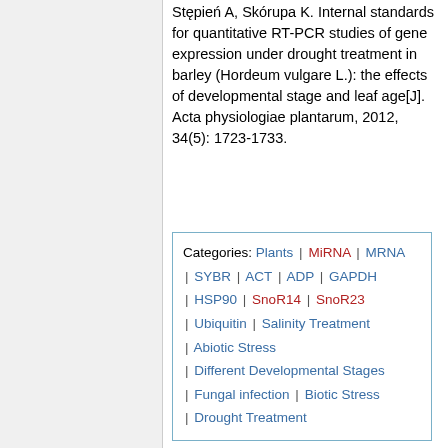Stępień A, Skórupa K. Internal standards for quantitative RT-PCR studies of gene expression under drought treatment in barley (Hordeum vulgare L.): the effects of developmental stage and leaf age[J]. Acta physiologiae plantarum, 2012, 34(5): 1723-1733.
Categories: Plants | MiRNA | MRNA | SYBR | ACT | ADP | GAPDH | HSP90 | SnoR14 | SnoR23 | Ubiquitin | Salinity Treatment | Abiotic Stress | Different Developmental Stages | Fungal infection | Biotic Stress | Drought Treatment